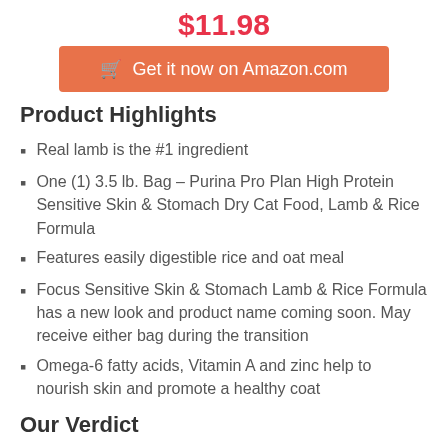$11.98
Get it now on Amazon.com
Product Highlights
Real lamb is the #1 ingredient
One (1) 3.5 lb. Bag – Purina Pro Plan High Protein Sensitive Skin & Stomach Dry Cat Food, Lamb & Rice Formula
Features easily digestible rice and oat meal
Focus Sensitive Skin & Stomach Lamb & Rice Formula has a new look and product name coming soon. May receive either bag during the transition
Omega-6 fatty acids, Vitamin A and zinc help to nourish skin and promote a healthy coat
Our Verdict